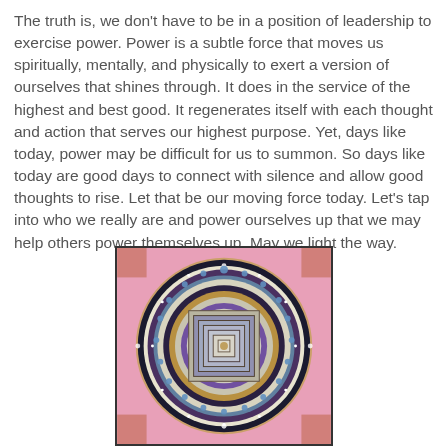The truth is, we don't have to be in a position of leadership to exercise power. Power is a subtle force that moves us spiritually, mentally, and physically to exert a version of ourselves that shines through. It does in the service of the highest and best good. It regenerates itself with each thought and action that serves our highest purpose. Yet, days like today, power may be difficult for us to summon. So days like today are good days to connect with silence and allow good thoughts to rise. Let that be our moving force today. Let's tap into who we really are and power ourselves up that we may help others power themselves up. May we light the way.
[Figure (illustration): A colorful Tibetan Kalachakra mandala with intricate geometric patterns, concentric circles, and a square mandala palace at the center, on a pink background with decorative border elements.]